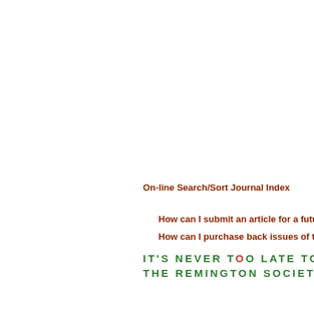On-line Search/Sort Journal Index
How can I submit an article for a future issu
How can I purchase back issues of the RSA J
IT'S NEVER TOO LATE TO JOIN THE REMINGTON SOCIETY OF A